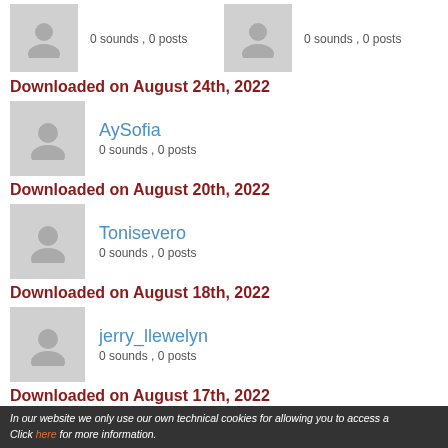0 sounds , 0 posts
0 sounds , 0 posts
Downloaded on August 24th, 2022
AySofia
0 sounds , 0 posts
Downloaded on August 20th, 2022
Tonisevero
0 sounds , 0 posts
Downloaded on August 18th, 2022
jerry_llewelyn
0 sounds , 0 posts
Downloaded on August 17th, 2022
tnakahara
0 sounds , 0 posts
Downloaded on August 16th, 2022
In our website we only use our own technical cookies for allowing you to access a Click here for more information.